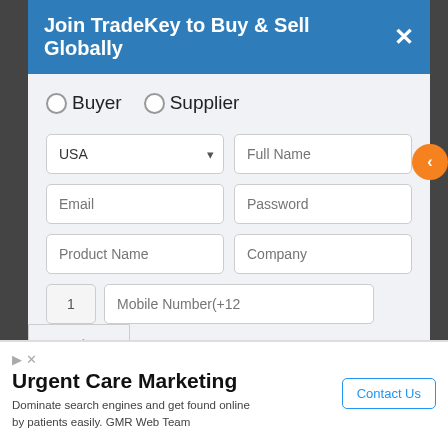Join TradeKey to Buy & Sell Globally
○Buyer  ○Supplier
[Figure (screenshot): Registration form with fields: country dropdown (USA), Full Name, Email, Password, Product Name, Company, mobile number with country code 1]
[Figure (infographic): Book A Call vertical tab on right side, orange arrow button]
Urgent Care Marketing
Dominate search engines and get found online by patients easily. GMR Web Team
Contact Us